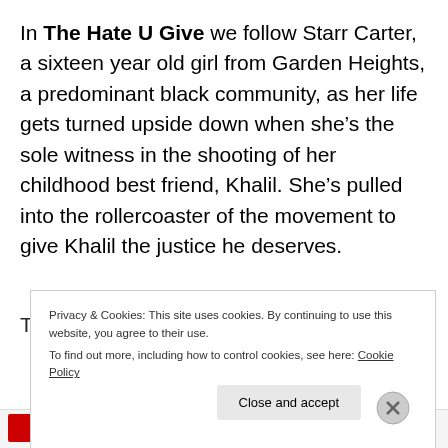In The Hate U Give we follow Starr Carter, a sixteen year old girl from Garden Heights, a predominant black community, as her life gets turned upside down when she's the sole witness in the shooting of her childhood best friend, Khalil. She's pulled into the rollercoaster of the movement to give Khalil the justice he deserves.
Privacy & Cookies: This site uses cookies. By continuing to use this website, you agree to their use. To find out more, including how to control cookies, see here: Cookie Policy